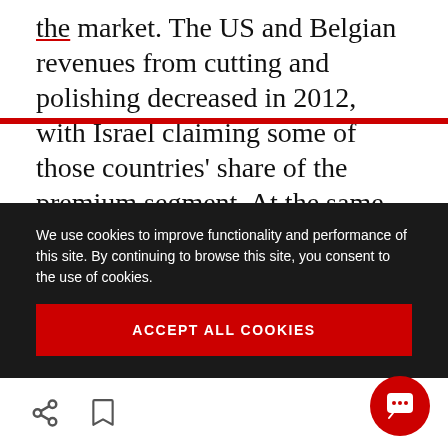the market. The US and Belgian revenues from cutting and polishing decreased in 2012, with Israel claiming some of those countries' share of the premium segment. At the same time, Belgium has remained the leader in the exceptional-stones segment (high-quality stones of more than 20 carats).

Overall, the trend in cutting and polishing is
We use cookies to improve functionality and performance of this site. By continuing to browse this site, you consent to the use of cookies.
ACCEPT ALL COOKIES